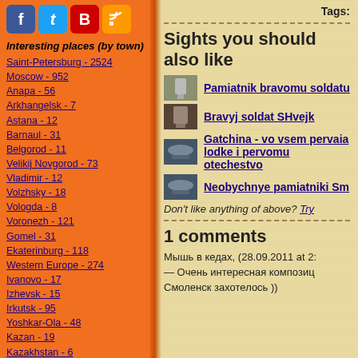[Figure (other): Social media icons: Facebook, Twitter, VKontakte (B), RSS feed]
Interesting places (by town)
Saint-Petersburg - 2524
Moscow - 952
Anapa - 56
Arkhangelsk - 7
Astana - 12
Barnaul - 31
Belgorod - 11
Velikij Novgorod - 73
Vladimir - 12
Volzhsky - 18
Vologda - 8
Voronezh - 121
Gomel - 31
Ekaterinburg - 118
Western Europe - 274
Ivanovo - 17
Izhevsk - 15
Irkutsk - 95
Yoshkar-Ola - 48
Kazan - 19
Kazakhstan - 6
Kaliningrad - 14
Kaluga - 21
Kiev - 67
Tags:
Sights you should also like
Pamiatnik bravomu soldatu
Bravyj soldat SHvejk
Gatchina - vo vsem pervaia lodke i pervomu otechestvo
Neobychnye pamiatniki Sm
Don't like anything of above? Try
1 comments
Мышь в кедах, (28.09.2011 at 2: — Очень интересная композиц Смоленск захотелось ))